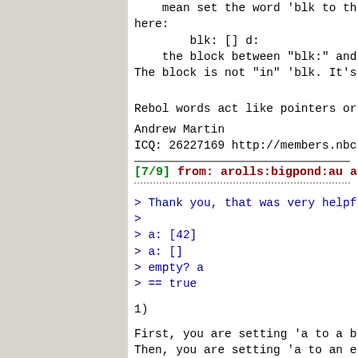mean set the word 'blk to the block
here:
        blk: [] d:
    the block between "blk:" and
The block is not "in" 'blk. It's
Rebol words act like pointers or
Andrew Martin
ICQ: 26227169 http://members.nbc
[7/9] from: arolls:bigpond:au at
> Thank you, that was very helpf
>
> a: [42]
> a: []
> empty? a
> == true
1)
First, you are setting 'a to a b
Then, you are setting 'a to an e
The old block (with 42 in it), i
referenced by anything, so it wi
collected.